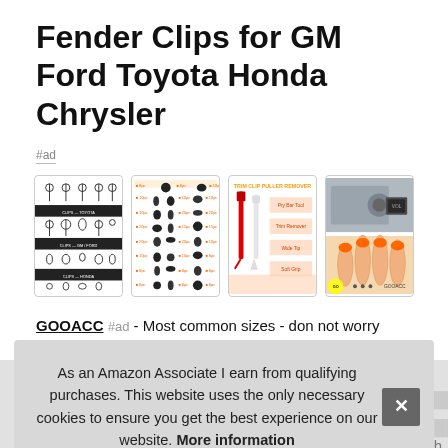Fender Clips for GM Ford Toyota Honda Chrysler
#ad
[Figure (photo): Chart showing various automotive fender/body clips with black banner labels]
[Figure (photo): Sheet showing multiple automotive push clips in various sizes and shapes]
[Figure (photo): Red pry tool and white trim removal tool on illustrated packaging]
[Figure (photo): Two photos: grey panel clip installation and orange plastic clips being removed]
GOOACC #ad - Most common sizes - don not worry about lost or d... with... reta...
Con... Save time and money - you can find 240pcs automotive push
As an Amazon Associate I earn from qualifying purchases. This website uses the only necessary cookies to ensure you get the best experience on our website. More information